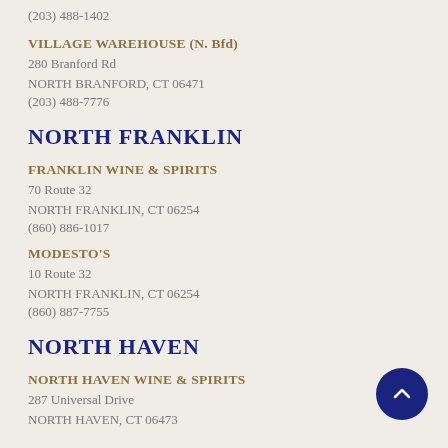(203) 488-1402
VILLAGE WAREHOUSE (N. Bfd)
280 Branford Rd
NORTH BRANFORD, CT 06471
(203) 488-7776
NORTH FRANKLIN
FRANKLIN WINE & SPIRITS
70 Route 32
NORTH FRANKLIN, CT 06254
(860) 886-1017
MODESTO'S
10 Route 32
NORTH FRANKLIN, CT 06254
(860) 887-7755
NORTH HAVEN
NORTH HAVEN WINE & SPIRITS
287 Universal Drive
NORTH HAVEN, CT 06473